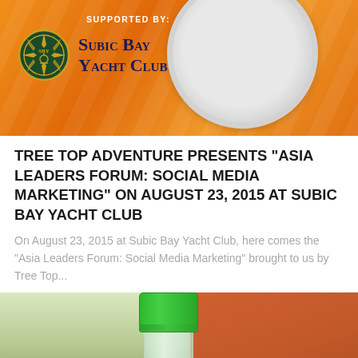[Figure (photo): Orange gradient banner with Subic Bay Yacht Club logo and name, with circular badge element on right side. Text 'SUPPORTED BY:' above the logo.]
TREE TOP ADVENTURE PRESENTS "ASIA LEADERS FORUM: SOCIAL MEDIA MARKETING" ON AUGUST 23, 2015 AT SUBIC BAY YACHT CLUB
On August 23, 2015 at Subic Bay Yacht Club, here comes the "Asia Leaders Forum: Social Media Marketing" brought to us by Tree Top...
[Figure (photo): Close-up photo of a plastic bottle with a green cap, set against a blurred outdoor background with trees and an orange/terracotta wall. A circular scroll-to-top button is visible on the bottom right.]